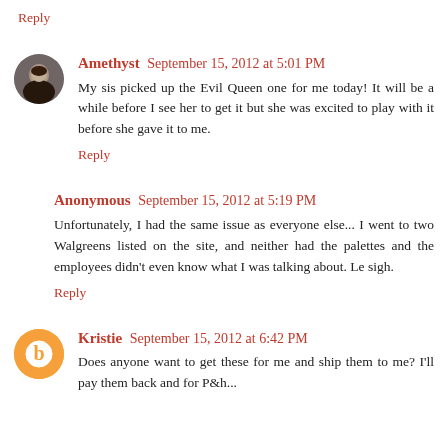Reply
Amethyst September 15, 2012 at 5:01 PM
My sis picked up the Evil Queen one for me today! It will be a while before I see her to get it but she was excited to play with it before she gave it to me.
Reply
Anonymous September 15, 2012 at 5:19 PM
Unfortunately, I had the same issue as everyone else... I went to two Walgreens listed on the site, and neither had the palettes and the employees didn't even know what I was talking about. Le sigh.
Reply
Kristie September 15, 2012 at 6:42 PM
Does anyone want to get these for me and ship them to me? I'll pay them back and for P&h...